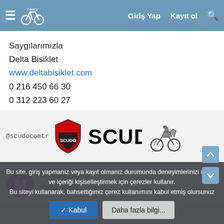≡  [logo]  Giriş Yap  Kayıt ol  🔍
Saygılarımızla
Delta Bisiklet
www.deltabisiklet.com
0 216 450 66 30
0 312 223 60 27
İlyas ŞANLI, erkan tufekci, krankmili ve 10 kişi daha
[Figure (logo): Scudo brand advertisement with @scudocomtr handle, Scudo shield logo, SCUDO text, and a motorcycle image]
Mustafa Acar
Keep going...
Bu site, giriş yapmanız veya kayıt olmanız durumunda deneyimlerinizi uyarla ve içeriği kişiselleştirmek için çerezler kullanır.
Bu siteyi kullanarak, bahsettiğimiz çerez kullanımını kabul etmiş olursunuz
✓ Kabul   Daha fazla bilgi...